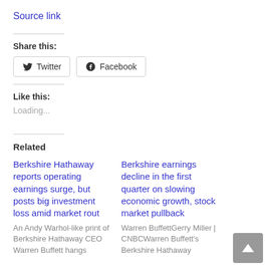Source link
Share this:
Twitter  Facebook
Like this:
Loading...
Related
Berkshire Hathaway reports operating earnings surge, but posts big investment loss amid market rout
An Andy Warhol-like print of Berkshire Hathaway CEO Warren Buffett hangs
Berkshire earnings decline in the first quarter on slowing economic growth, stock market pullback
Warren BuffettGerry Miller | CNBCWarren Buffett's Berkshire Hathaway